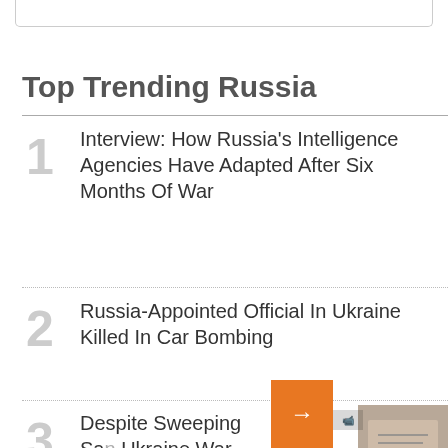[Figure (screenshot): Top portion of a rounded white bar/card element at the very top of the page]
Top Trending Russia
1  Interview: How Russia's Intelligence Agencies Have Adapted After Six Months Of War
2  Russia-Appointed Official In Ukraine Killed In Car Bombing
3  Despite Sweeping Sa... Ukraine War, Russian... Touches Post-Soviet...
4  Daughter Of Russian...
[Figure (screenshot): Orange arrow overlay with video thumbnail showing a hand-written note, and partial text 'Yehor's Di... Buys A Ho... Year-Old E... Document... Siege']